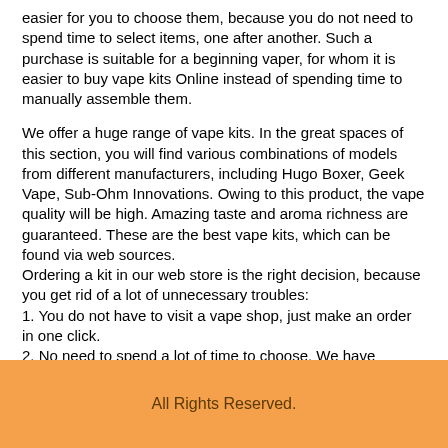easier for you to choose them, because you do not need to spend time to select items, one after another. Such a purchase is suitable for a beginning vaper, for whom it is easier to buy vape kits Online instead of spending time to manually assemble them.
We offer a huge range of vape kits. In the great spaces of this section, you will find various combinations of models from different manufacturers, including Hugo Boxer, Geek Vape, Sub-Ohm Innovations. Owing to this product, the vape quality will be high. Amazing taste and aroma richness are guaranteed. These are the best vape kits, which can be found via web sources.
Ordering a kit in our web store is the right decision, because you get rid of a lot of unnecessary troubles:
1. You do not have to visit a vape shop, just make an order in one click.
2. No need to spend a lot of time to choose. We have already selected the best variations and placed them in one section, simplifying the task for you.
3. No more overpaying. Electronic cigarette assembly is inexpensively sold on our website.
As you can see, the purchase in our online store has only advantages. Call one of our phone numbers and communicate with an advisor who can easily tell you, which vape kit model is the best for you.
All Rights Reserved.